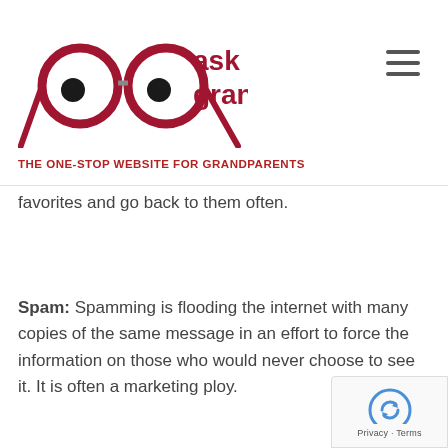[Figure (logo): Ask Granny logo with glasses icon and red text 'ask granny']
THE ONE-STOP WEBSITE FOR GRANDPARENTS
favorites and go back to them often.
Spam: Spamming is flooding the internet with many copies of the same message in an effort to force the information on those who would never choose to see it. It is often a marketing ploy.